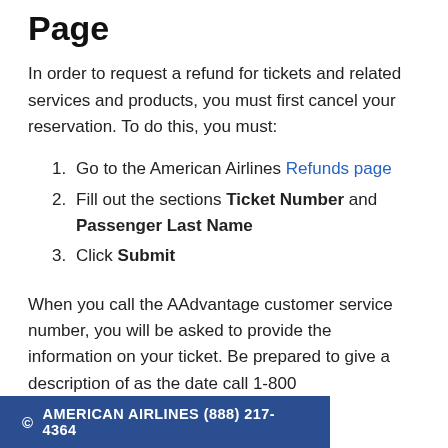Page
In order to request a refund for tickets and related services and products, you must first cancel your reservation. To do this, you must:
1. Go to the American Airlines Refunds page
2. Fill out the sections Ticket Number and Passenger Last Name
3. Click Submit
When you call the AAdvantage customer service number, you will be asked to provide the information on your ticket. Be prepared to give a description of
© AMERICAN AIRLINES (888) 217-4364